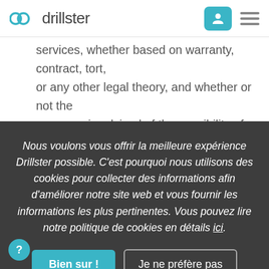drillster
services, whether based on warranty, contract, tort, or any other legal theory, and whether or not the company is advised of the possibility of such damages;
2. consequential and/or compensatory damages of any...
Nous voulons vous offrir la meilleure expérience Drillster possible. C'est pourquoi nous utilisons des cookies pour collecter des informations afin d'améliorer notre site web et vous fournir les informations les plus pertinentes. Vous pouvez lire notre politique de cookies en détails ici.